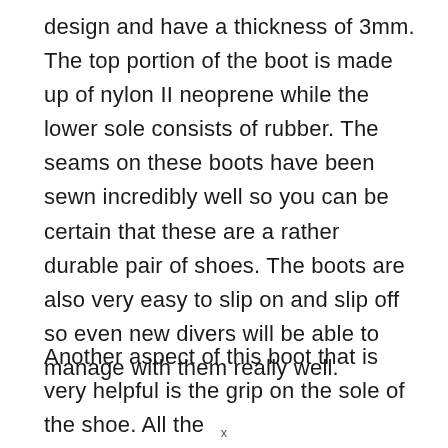design and have a thickness of 3mm. The top portion of the boot is made up of nylon II neoprene while the lower sole consists of rubber. The seams on these boots have been sewn incredibly well so you can be certain that these are a rather durable pair of shoes. The boots are also very easy to slip on and slip off so even new divers will be able to manage with them really well.
Another aspect of this boot that is very helpful is the grip on the sole of the shoe. All the
x